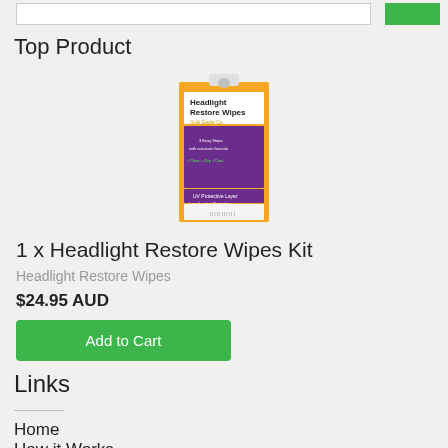Top Product
[Figure (photo): Product image of Headlight Restore Wipes Kit box with orange packaging and purple insert]
1 x Headlight Restore Wipes Kit
Headlight Restore Wipes
$24.95 AUD
Add to Cart
Links
Home
How it Works